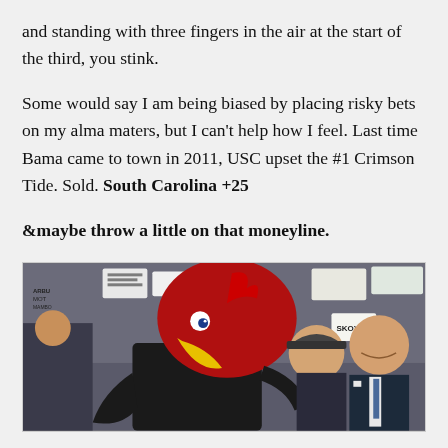and standing with three fingers in the air at the start of the third, you stink.
Some would say I am being biased by placing risky bets on my alma maters, but I can't help how I feel. Last time Bama came to town in 2011, USC upset the #1 Crimson Tide. Sold. South Carolina +25
&maybe throw a little on that moneyline.
[Figure (photo): Photo of a person in a large red rooster/gamecock mascot costume in a suit bending forward, with a man in a cap and another man in a suit laughing, and a crowd holding signs in the background.]